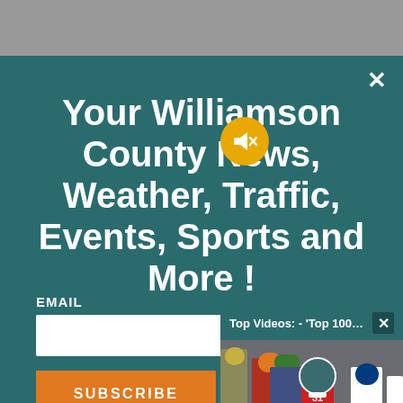Your Williamson County News, Weather, Traffic, Events, Sports and More !
EMAIL
SUBSCRIBE
[Figure (screenshot): Video popup overlay showing football players on sideline with text: Top Videos: - 'Top 100 Players of 20...' and a close button. A mute button (circle with speaker-off icon) overlaps the popup.]